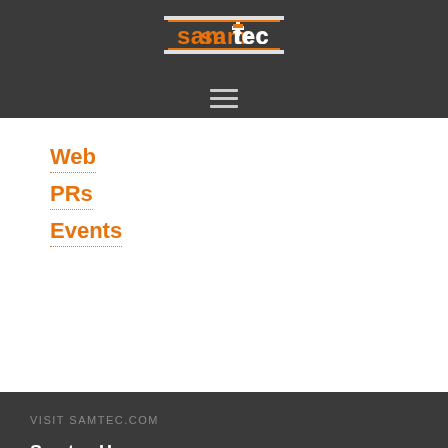[Figure (logo): Samtec company logo in orange and white on dark gray background]
[Figure (other): Hamburger menu icon with three horizontal lines]
Web
PRs
Events
VISIT SAMTEC.COM
Samtec Home
Search by Picture